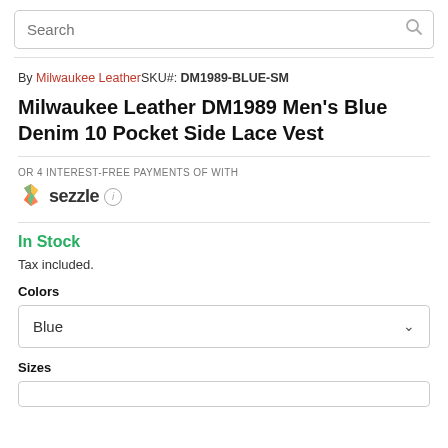Search
By Milwaukee Leather SKU#: DM1989-BLUE-SM
Milwaukee Leather DM1989 Men's Blue Denim 10 Pocket Side Lace Vest
OR 4 INTEREST-FREE PAYMENTS OF WITH
[Figure (logo): Sezzle logo with colorful flame icon and info icon]
In Stock
Tax included.
Colors
Blue
Sizes